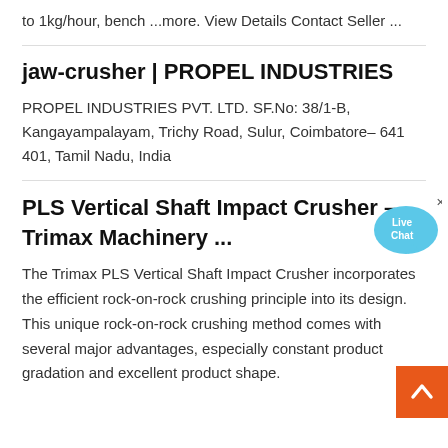to 1kg/hour, bench ...more. View Details Contact Seller ...
jaw-crusher | PROPEL INDUSTRIES
PROPEL INDUSTRIES PVT. LTD. SF.No: 38/1-B, Kangayampalayam, Trichy Road, Sulur, Coimbatore– 641 401, Tamil Nadu, India
[Figure (illustration): Live Chat bubble icon in light blue]
PLS Vertical Shaft Impact Crusher – Trimax Machinery ...
The Trimax PLS Vertical Shaft Impact Crusher incorporates the efficient rock-on-rock crushing principle into its design. This unique rock-on-rock crushing method comes with several major advantages, especially constant product gradation and excellent product shape.
[Figure (illustration): Back to top orange button with white upward chevron arrow]